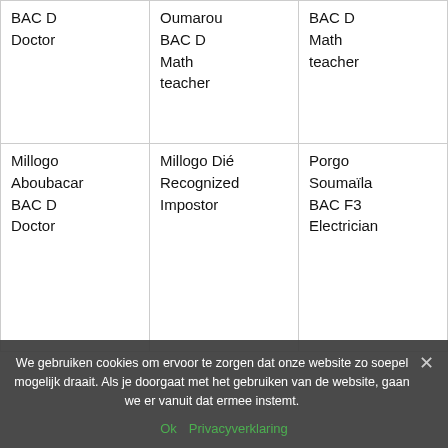| BAC D
Doctor | Oumarou
BAC D
Math teacher | BAC D
Math teacher |
| Millogo Aboubacar
BAC D
Doctor | Millogo Dié
Recognized Impostor | Porgo Soumaïla
BAC F3
Electrician |
We gebruiken cookies om ervoor te zorgen dat onze website zo soepel mogelijk draait. Als je doorgaat met het gebruiken van de website, gaan we er vanuit dat ermee instemt.
Ok   Privacyverklaring